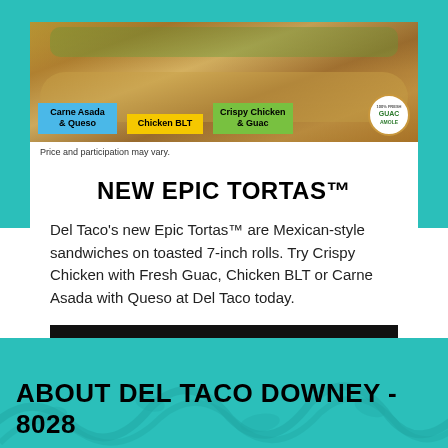[Figure (photo): Photo of three Epic Tortas sandwiches on toasted rolls with toppings. Labels below read: Carne Asada & Queso (blue label), Chicken BLT (yellow label), Crispy Chicken & Guac (green label). A 100% Fresh Guacamole badge is on the right.]
Price and participation may vary.
NEW EPIC TORTAS™
Del Taco's new Epic Tortas™ are Mexican-style sandwiches on toasted 7-inch rolls. Try Crispy Chicken with Fresh Guac, Chicken BLT or Carne Asada with Queso at Del Taco today.
ORDER NOW
ABOUT DEL TACO DOWNEY - 8028